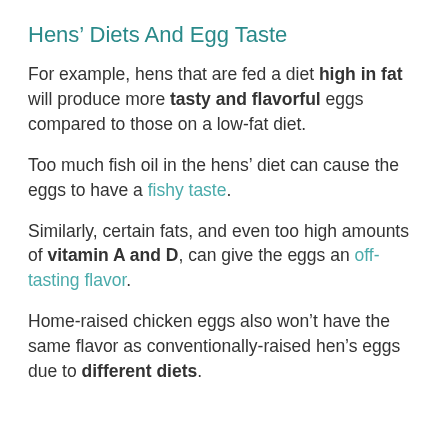Hens’ Diets And Egg Taste
For example, hens that are fed a diet high in fat will produce more tasty and flavorful eggs compared to those on a low-fat diet.
Too much fish oil in the hens’ diet can cause the eggs to have a fishy taste.
Similarly, certain fats, and even too high amounts of vitamin A and D, can give the eggs an off-tasting flavor.
Home-raised chicken eggs also won’t have the same flavor as conventionally-raised hen’s eggs due to different diets.